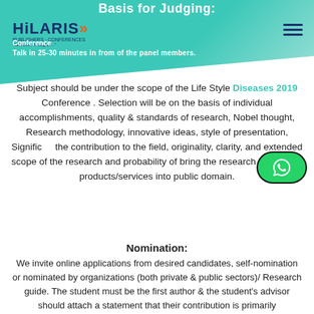Basis for Judging:
Authors need to present their research or Talk in 25-30 minutes in from of the panel members. Subject should be under the scope of the Life Style Diseases 2019 Conference . Selection will be on the basis of individual accomplishments, quality & standards of research, Nobel thought, Research methodology, innovative ideas, style of presentation, Significant contribution to the field, originality, clarity, and extended scope of the research and probability of bring the research in terms of products/services into public domain.
Nomination:
We invite online applications from desired candidates, self-nomination or nominated by organizations (both private & public sectors)/ Research guide. The student must be the first author & the student's advisor should attach a statement that their contribution is primarily